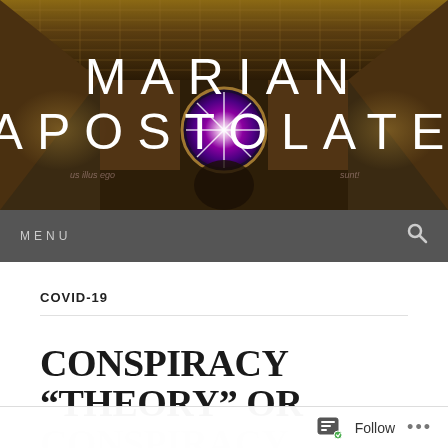[Figure (photo): Interior of an ornate church/chapel with gilded ceiling, frescoed walls, and a large circular stained glass window in the center. The header image for the Marian Apostolate website.]
MARIAN APOSTOLATE
MENU
COVID-19
CONSPIRACY “THEORY” OR CONSPIRACY REALITY